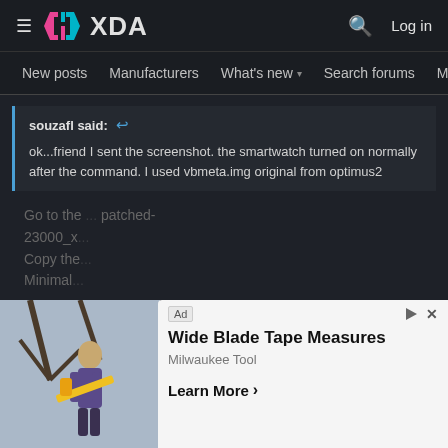XDA — New posts | Manufacturers | What's new | Search forums | Members
souzafl said: ↩
ok...friend I sent the screenshot. the smartwatch turned on normally after the command. I used vbmeta.img original from optimus2
Good...

Attention. kospet optimus 2 makes sure you are using the boot.img file of the original software.
Just use your watch to patch the boot.img file with Magisk. Not his phone.
After patching the boot.img file will look like magisk_patched-23000_xxxx.img.
Go to the ... patched-23000_x... Copy the... Minimal...
[Figure (screenshot): Advertisement banner: Wide Blade Tape Measures by Milwaukee Tool with Learn More button]